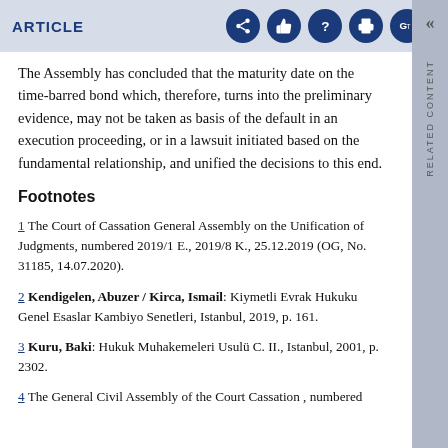ARTICLE
The Assembly has concluded that the maturity date on the time-barred bond which, therefore, turns into the preliminary evidence, may not be taken as basis of the default in an execution proceeding, or in a lawsuit initiated based on the fundamental relationship, and unified the decisions to this end.
Footnotes
1 The Court of Cassation General Assembly on the Unification of Judgments, numbered 2019/1 E., 2019/8 K., 25.12.2019 (OG, No. 31185, 14.07.2020).
2 Kendigelen, Abuzer / Kirca, Ismail: Kiymetli Evrak Hukuku Genel Esaslar Kambiyo Senetleri, Istanbul, 2019, p. 161.
3 Kuru, Baki: Hukuk Muhakemeleri Usulü C. II., Istanbul, 2001, p. 2302.
4 The General Civil Assembly of the Court Cassation , numbered